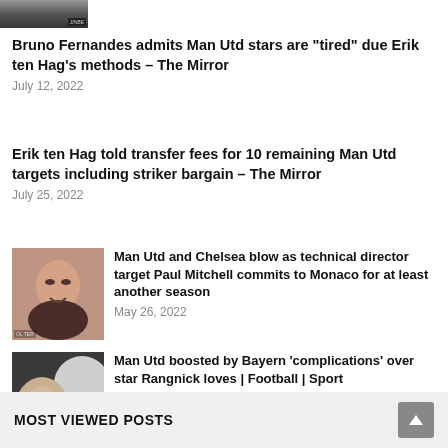[Figure (photo): Partial top image of a person, cropped at top of page]
Bruno Fernandes admits Man Utd stars are "tired" due Erik ten Hag's methods – The Mirror
July 12, 2022
Erik ten Hag told transfer fees for 10 remaining Man Utd targets including striker bargain – The Mirror
July 25, 2022
[Figure (photo): Headshot of Paul Mitchell, smiling man in dark suit]
Man Utd and Chelsea blow as technical director target Paul Mitchell commits to Monaco for at least another season
May 26, 2022
[Figure (photo): Side profile of Ralf Rangnick wearing glasses]
Man Utd boosted by Bayern 'complications' over star Rangnick loves | Football | Sport
March 28, 2022
MOST VIEWED POSTS